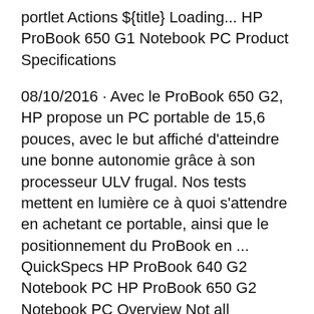portlet Actions ${title} Loading... HP ProBook 650 G1 Notebook PC Product Specifications
08/10/2016 · Avec le ProBook 650 G2, HP propose un PC portable de 15,6 pouces, avec le but affiché d'atteindre une bonne autonomie grâce à son processeur ULV frugal. Nos tests mettent en lumière ce à quoi s'attendre en achetant ce portable, ainsi que le positionnement du ProBook en ... QuickSpecs HP ProBook 640 G2 Notebook PC HP ProBook 650 G2 Notebook PC Overview Not all configuration components are available in all regions/countries. Americas – HP ProBook 640 & 650 G2 – March 2016